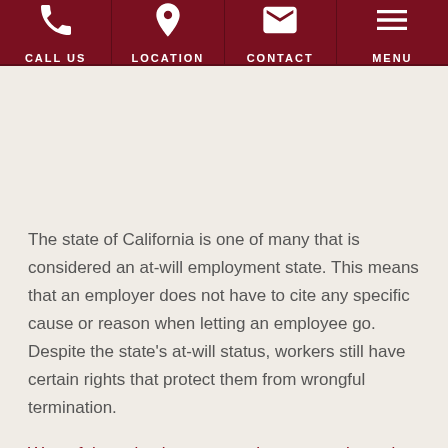CALL US | LOCATION | CONTACT | MENU
The state of California is one of many that is considered an at-will employment state. This means that an employer does not have to cite any specific cause or reason when letting an employee go. Despite the state’s at-will status, workers still have certain rights that protect them from wrongful termination.
Wrongful termination occurs when an employee is fired for discrimination, retaliation, a breach of contract, or...